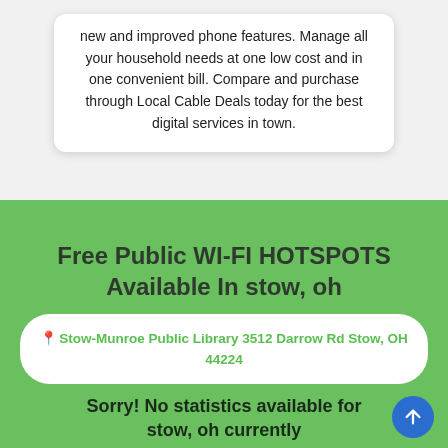new and improved phone features. Manage all your household needs at one low cost and in one convenient bill. Compare and purchase through Local Cable Deals today for the best digital services in town.
Free Public WI-FI HOTSPOTS Available In stow, oh
Stow-Munroe Public Library 3512 Darrow Rd Stow, OH 44224
Sorry! No statistics available for stow, oh currently